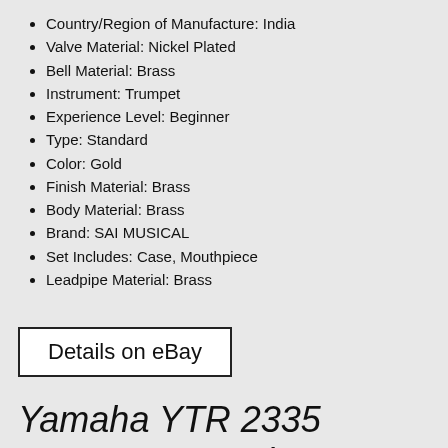Country/Region of Manufacture: India
Valve Material: Nickel Plated
Bell Material: Brass
Instrument: Trumpet
Experience Level: Beginner
Type: Standard
Color: Gold
Finish Material: Brass
Body Material: Brass
Brand: SAI MUSICAL
Set Includes: Case, Mouthpiece
Leadpipe Material: Brass
Details on eBay
Yamaha YTR 2335 TRUMPET Beginner silver Brass with Hard case